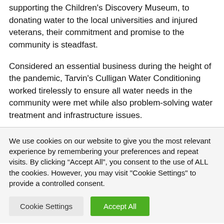supporting the Children's Discovery Museum, to donating water to the local universities and injured veterans, their commitment and promise to the community is steadfast.
Considered an essential business during the height of the pandemic, Tarvin's Culligan Water Conditioning worked tirelessly to ensure all water needs in the community were met while also problem-solving water treatment and infrastructure issues.
We use cookies on our website to give you the most relevant experience by remembering your preferences and repeat visits. By clicking “Accept All”, you consent to the use of ALL the cookies. However, you may visit "Cookie Settings" to provide a controlled consent.